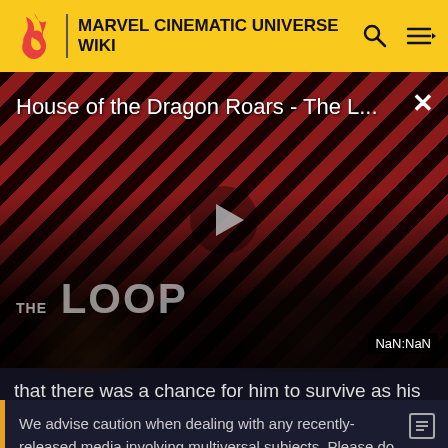MARVEL CINEMATIC UNIVERSE WIKI
[Figure (screenshot): Video player showing 'House of the Dragon Roars - The L...' with diagonal red/black stripe background, play button, THE LOOP watermark, and NaN:NaN timer. Dark silhouettes of figures visible.]
that there was a chance for him to survive as his mind
We advise caution when dealing with any recently-released media involving multiversal subjects. Please do not make assumptions regarding confusing wording, other sites' speculation, and people's headcanon around the internet.